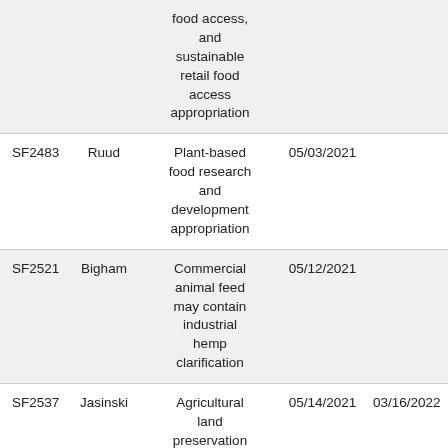| Bill | Author | Description | Date1 | Date2 |
| --- | --- | --- | --- | --- |
|  |  | food access, and sustainable retail food access appropriation |  |  |
| SF2483 | Ruud | Plant-based food research and development appropriation | 05/03/2021 |  |
| SF2521 | Bigham | Commercial animal feed may contain industrial hemp clarification | 05/12/2021 |  |
| SF2537 | Jasinski | Agricultural land preservation | 05/14/2021 | 03/16/2022 |